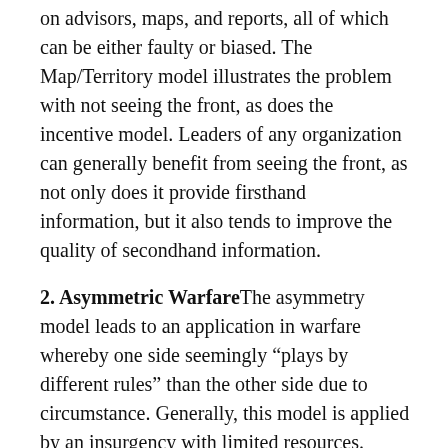on advisors, maps, and reports, all of which can be either faulty or biased. The Map/Territory model illustrates the problem with not seeing the front, as does the incentive model. Leaders of any organization can generally benefit from seeing the front, as not only does it provide firsthand information, but it also tends to improve the quality of secondhand information.
2. Asymmetric Warfare The asymmetry model leads to an application in warfare whereby one side seemingly “plays by different rules” than the other side due to circumstance. Generally, this model is applied by an insurgency with limited resources. Unable to out-muscle their opponents, asymmetric fighters use other tactics, as with terrorism creating fear that’s disproportionate to their actual destructive ability.
3. Two-Front War The Second World War was a